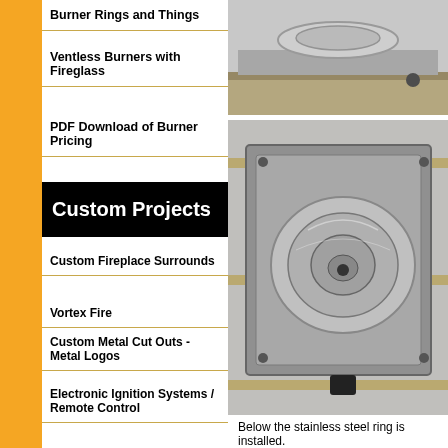Burner Rings and Things
Ventless Burners with Fireglass
PDF Download of Burner Pricing
Custom Projects
Custom Fireplace Surrounds
Vortex Fire
Custom Metal Cut Outs - Metal Logos
Electronic Ignition Systems / Remote Control
Enrique Castro Balcony Fire Pit
Flash Fire - Dual purpose Custom Propane Tray
[Figure (photo): Stainless steel component on a shelf, top view]
[Figure (photo): Stainless steel ring installed in a square metal tray, workshop setting]
Below the stainless steel ring is installed.